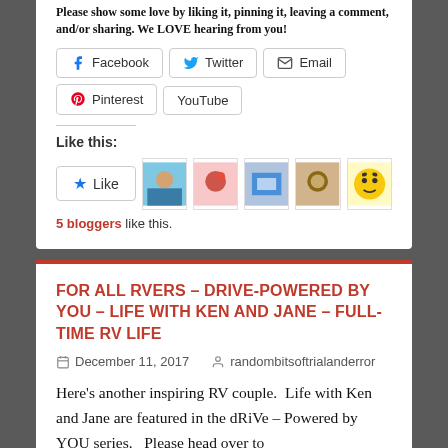Please show some love by liking it, pinning it, leaving a comment, and/or sharing. We LOVE hearing from you!
Facebook | Twitter | Email | Pinterest | YouTube
Like this:
5 bloggers like this.
FOR ALL RVERS – DRIVE-POWERED BY YOU – LIFE WITH KEN AND JANE – FULL-TIME RV LIFE
December 11, 2017   randombitsoftrialanderror
Here's another inspiring RV couple.  Life with Ken and Jane are featured in the dRiVe – Powered by YOU series.   Please head over to